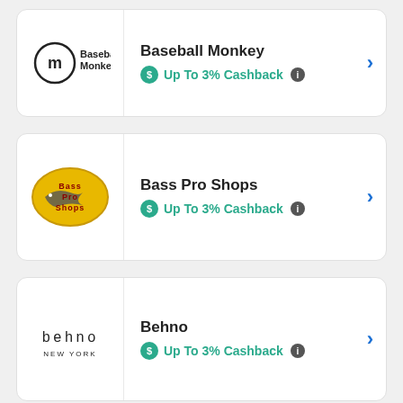[Figure (logo): Baseball Monkey logo - circular M icon with Baseball Monkey text]
Baseball Monkey
Up To 3% Cashback
[Figure (logo): Bass Pro Shops logo - yellow oval with fish and Bass Pro Shops text]
Bass Pro Shops
Up To 3% Cashback
[Figure (logo): Behno New York logo - lowercase letters b e h n o with NEW YORK below]
Behno
Up To 3% Cashback